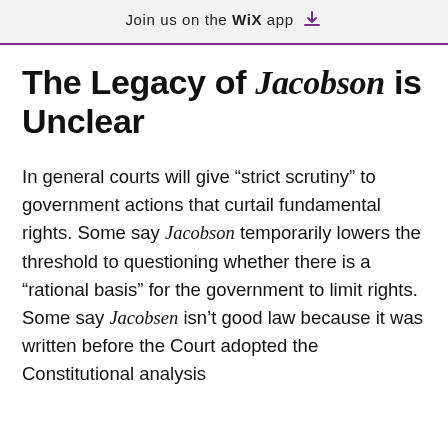Join us on the WiX app
The Legacy of Jacobson is Unclear
In general courts will give “strict scrutiny” to government actions that curtail fundamental rights. Some say Jacobson temporarily lowers the threshold to questioning whether there is a “rational basis” for the government to limit rights. Some say Jacobsen isn’t good law because it was written before the Court adopted the Constitutional analysis